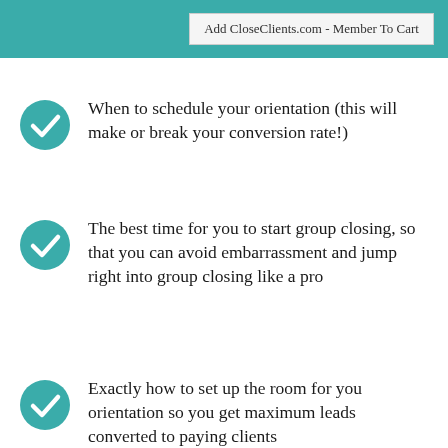Add CloseClients.com - Member To Cart
When to schedule your orientation (this will make or break your conversion rate!)
The best time for you to start group closing, so that you can avoid embarrassment and jump right into group closing like a pro
Exactly how to set up the room for you orientation so you get maximum leads converted to paying clients